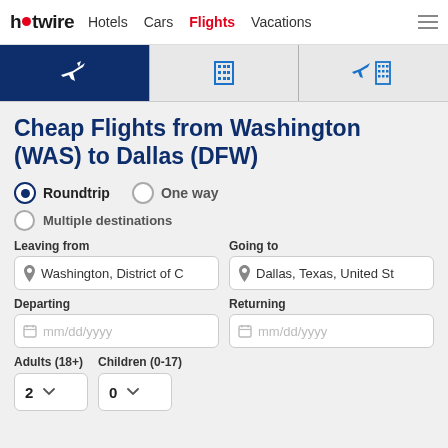hotwire  Hotels  Cars  Flights  Vacations
[Figure (screenshot): Tab bar with flight icon (active, dark blue), hotel icon, and flight+hotel icon tabs]
Cheap Flights from Washington (WAS) to Dallas (DFW)
Roundtrip  One way
Multiple destinations
Leaving from: Washington, District of C   Going to: Dallas, Texas, United St
Departing: mm/dd/yyyy   Returning: mm/dd/yyyy
Adults (18+): 2   Children (0-17): 0